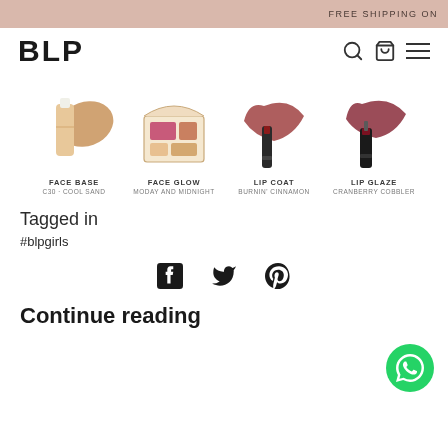FREE SHIPPING ON
[Figure (logo): BLP beauty brand logo in bold black letters]
[Figure (illustration): Four beauty products: Face Base C30-Cool Sand (foundation bottle with swatch), Face Glow Monday and Midnight (blush palette), Lip Coat Burnin' Cinnamon (lip gloss tube with swatch), Lip Glaze Cranberry Cobbler (lip gloss with swatch)]
Tagged in
#blpgirls
[Figure (infographic): Social share icons: Facebook, Twitter, Pinterest]
[Figure (illustration): WhatsApp floating action button]
Continue reading